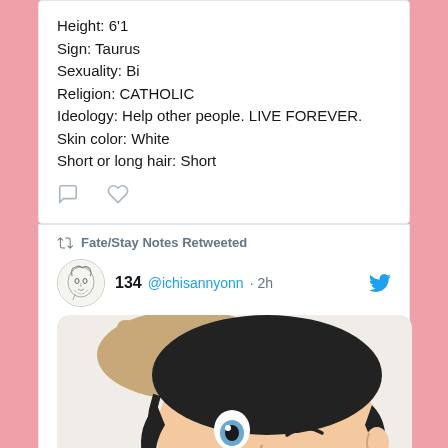Height: 6'1
Sign: Taurus
Sexuality: Bi
Religion: CATHOLIC
Ideology: Help other people. LIVE FOREVER.
Skin color: White
Short or long hair: Short
Fate/Stay Notes Retweeted
134 @ichisannyonn · 2h
[Figure (illustration): Anime character with black short hair, one eye open and one winking, hand on head, wearing olive/yellow clothing, mouth open, looking upward]